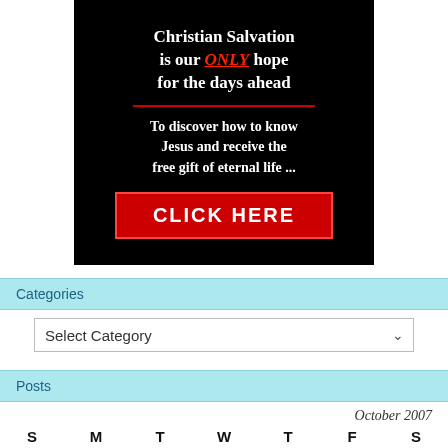[Figure (infographic): Black background banner ad with bold white text: 'Christian Salvation is our ONLY hope for the days ahead' (ONLY in red underlined italic), a red horizontal divider, then 'To discover how to know Jesus and receive the free gift of eternal life ...', and a red CLICK HERE button]
Categories
Select Category
Posts
October 2007
| S | M | T | W | T | F | S |
| --- | --- | --- | --- | --- | --- | --- |